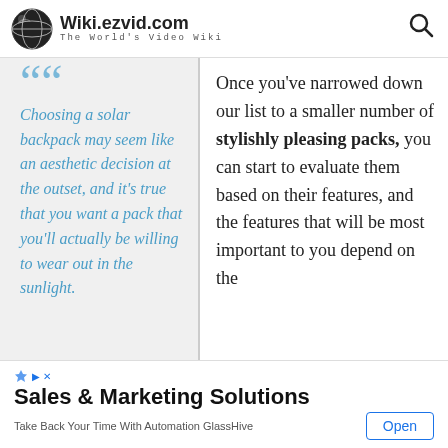Wiki.ezvid.com — The World's Video Wiki
Choosing a solar backpack may seem like an aesthetic decision at the outset, and it's true that you want a pack that you'll actually be willing to wear out in the sunlight.
Once you've narrowed down our list to a smaller number of stylishly pleasing packs, you can start to evaluate them based on their features, and the features that will be most important to you depend on the
Sales & Marketing Solutions
Take Back Your Time With Automation GlassHive
Open